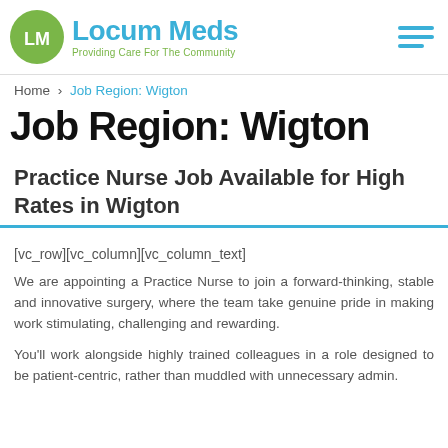[Figure (logo): Locum Meds logo with green circle LM icon and teal text 'Locum Meds', subtitle 'Providing Care For The Community']
Home › Job Region: Wigton
Job Region: Wigton
Practice Nurse Job Available for High Rates in Wigton
[vc_row][vc_column][vc_column_text]
We are appointing a Practice Nurse to join a forward-thinking, stable and innovative surgery, where the team take genuine pride in making work stimulating, challenging and rewarding.
You'll work alongside highly trained colleagues in a role designed to be patient-centric, rather than muddled with unnecessary admin.